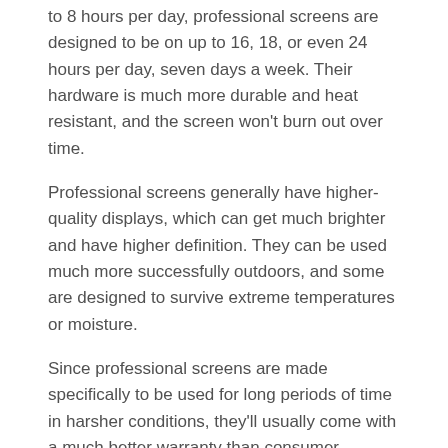to 8 hours per day, professional screens are designed to be on up to 16, 18, or even 24 hours per day, seven days a week. Their hardware is much more durable and heat resistant, and the screen won't burn out over time.
Professional screens generally have higher-quality displays, which can get much brighter and have higher definition. They can be used much more successfully outdoors, and some are designed to survive extreme temperatures or moisture.
Since professional screens are made specifically to be used for long periods of time in harsher conditions, they'll usually come with a much better warranty than consumer screens. Because of their improved durability, they'll often provide a much better return on your investment than a cheaper screen might have.
DIGITAL SIGNAGE MEDIA PLAYERS